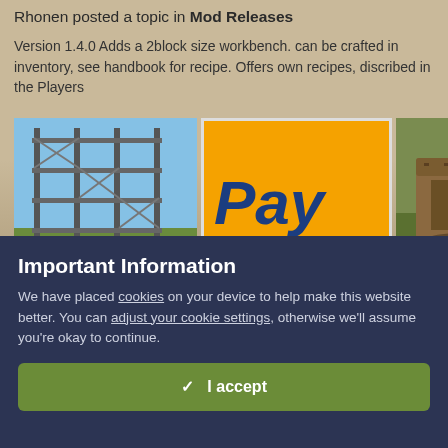Rhonen posted a topic in Mod Releases
Version 1.4.0 Adds a 2block size workbench. can be crafted in inventory, see handbook for recipe. Offers own recipes, discribed in the Players
[Figure (screenshot): Three images: scaffolding structure in game, PayPal logo, wooden workbench in game]
September 27, 2020  160 replies  10
1.15.0+  client  (and 2 more)
Important Information
We have placed cookies on your device to help make this website better. You can adjust your cookie settings, otherwise we'll assume you're okay to continue.
✓  I accept